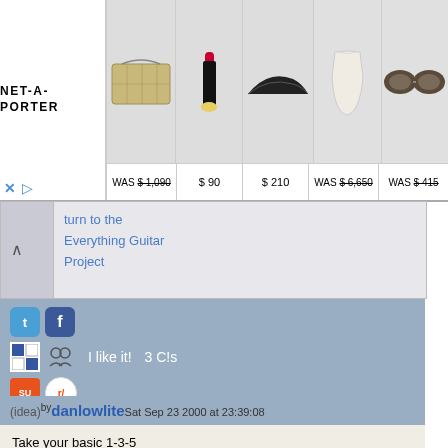[Figure (screenshot): NET-A-PORTER advertisement banner showing luxury fashion products with prices: handbag WAS $1,090, lipstick $90, shoes $210, dress WAS $6,650, sunglasses WAS $415]
turn to the Everything Guitar Project
[Figure (screenshot): Social sharing buttons including Twitter, Facebook, Delicious, Reddit, StumbleUpon icons, with 'I like it! 3 C!s' text]
(idea) by danlowlite Sat Sep 23 2000 at 23:39:08
Take your basic 1-3-5 Major chord. Take Eb. Look up to the Eb chart, match the 1-3-5 notes to the ones on your fretboard.